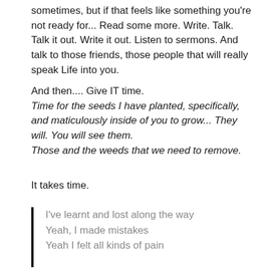sometimes, but if that feels like something you're not ready for... Read some more. Write. Talk. Talk it out. Write it out. Listen to sermons. And talk to those friends, those people that will really speak Life into you.
And then.... Give IT time.
Time for the seeds I have planted, specifically, and maticulously inside of you to grow... They will. You will see them.
Those and the weeds that we need to remove.
It takes time.
I've learnt and lost along the way
Yeah, I made mistakes
Yeah I felt all kinds of pain